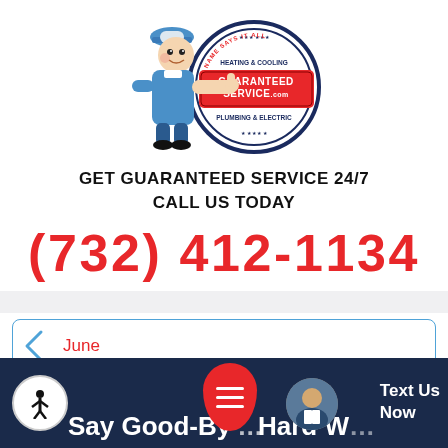[Figure (logo): Guaranteed Service logo: cartoon plumber holding a red sign reading GUARANTEED SERVICE.com with circular badge text HEATING & COOLING, PLUMBING & ELECTRIC, OUR NAME SAYS IT ALL]
GET GUARANTEED SERVICE 24/7
CALL US TODAY
(732) 412-1134
June
[Figure (screenshot): Bottom banner showing: accessibility icon button, red menu button, avatar circle, Text Us Now button, and partial text 'Say Good-By... Hard W...' on dark navy background]